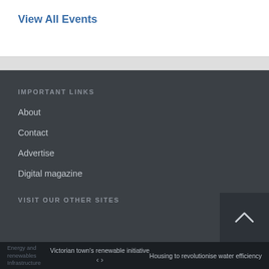View All Events
IMPORTANT LINKS
About
Contact
Advertise
Digital magazine
VISIT OUR OTHER SITES
Victorian town's renewable initiative  <  >  Housing to revolutionise water efficiency